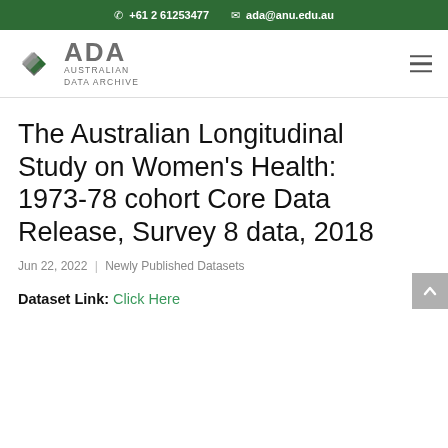+61 2 61253477   ada@anu.edu.au
[Figure (logo): ADA Australian Data Archive logo with diamond/chevron icon in grey and green]
The Australian Longitudinal Study on Women's Health: 1973-78 cohort Core Data Release, Survey 8 data, 2018
Jun 22, 2022 | Newly Published Datasets
Dataset Link: Click Here